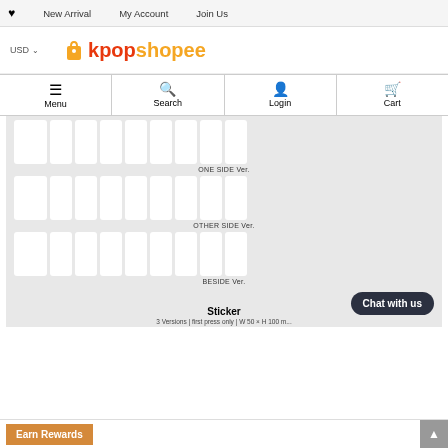♥  New Arrival  My Account  Join Us
[Figure (logo): Kpopshopee logo with shopping bag icon, USD currency selector]
Menu  Search  Login  Cart
[Figure (photo): Product sticker sheet display showing ONE SIDE Ver., OTHER SIDE Ver., and BESIDE Ver. card arrangements on gray background]
ONE SIDE Ver.
OTHER SIDE Ver.
BESIDE Ver.
Sticker
3 Versions | first press only | W 50 × H 100 m...
Earn Rewards
Chat with us